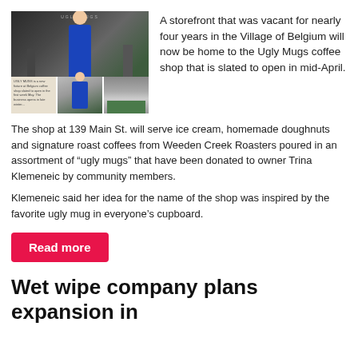[Figure (photo): Photo collage of Ugly Mugs coffee shop interior with a woman in a blue outfit and exterior storefront shots]
A storefront that was vacant for nearly four years in the Village of Belgium will now be home to the Ugly Mugs coffee shop that is slated to open in mid-April.
The shop at 139 Main St. will serve ice cream, homemade doughnuts and signature roast coffees from Weeden Creek Roasters poured in an assortment of “ugly mugs” that have been donated to owner Trina Klemeneic by community members.
Klemeneic said her idea for the name of the shop was inspired by the favorite ugly mug in everyone’s cupboard.
Read more
Wet wipe company plans expansion in